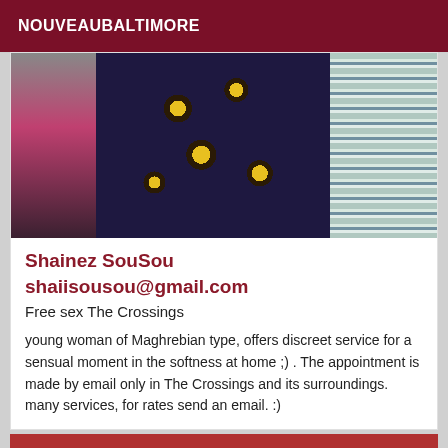NOUVEAUBALTIMORE
[Figure (photo): A photo showing a person wearing a dark navy blue dress with yellow sunflower pattern, next to someone in a striped outfit. A pink perfume bottle is visible on the left side.]
Shainez SouSou
shaiisousou@gmail.com
Free sex The Crossings
young woman of Maghrebian type, offers discreet service for a sensual moment in the softness at home ;) . The appointment is made by email only in The Crossings and its surroundings. many services, for rates send an email. :)